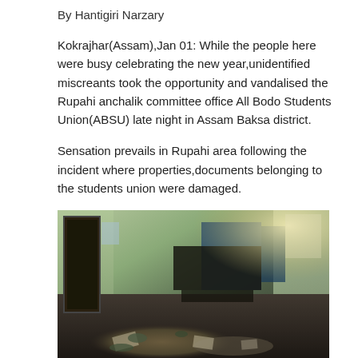By Hantigiri Narzary
Kokrajhar(Assam),Jan 01: While the people here were busy celebrating the new year,unidentified miscreants took the opportunity and vandalised the Rupahi anchalik committee office All Bodo Students Union(ABSU) late night in Assam Baksa district.
Sensation prevails in Rupahi area following the incident where properties,documents belonging to the students union were damaged.
[Figure (photo): Interior of a vandalized office — debris and papers scattered on the floor, overturned furniture visible in the background, green-painted walls, dark room with light coming from upper right.]